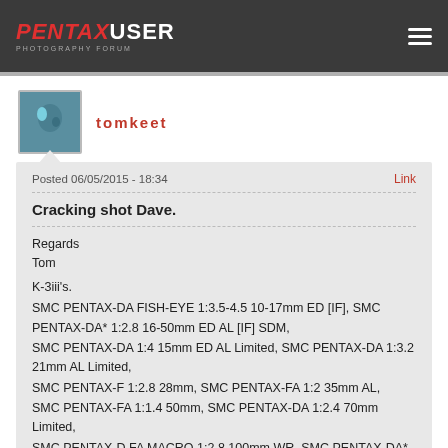PENTAXUSER
tomkeet
Posted 06/05/2015 - 18:34
Link
Cracking shot Dave.
Regards
Tom

K-3iii's.
SMC PENTAX-DA FISH-EYE 1:3.5-4.5 10-17mm ED [IF], SMC PENTAX-DA* 1:2.8 16-50mm ED AL [IF] SDM,
SMC PENTAX-DA 1:4 15mm ED AL Limited, SMC PENTAX-DA 1:3.2 21mm AL Limited,
SMC PENTAX-F 1:2.8 28mm, SMC PENTAX-FA 1:2 35mm AL,
SMC PENTAX-FA 1:1.4 50mm, SMC PENTAX-DA 1:2.4 70mm Limited,
SMC PENTAX-D FA MACRO 1:2.8 100mm WR, SMC PENTAX-DA* 1:4 300mm ED [IF] SDM.